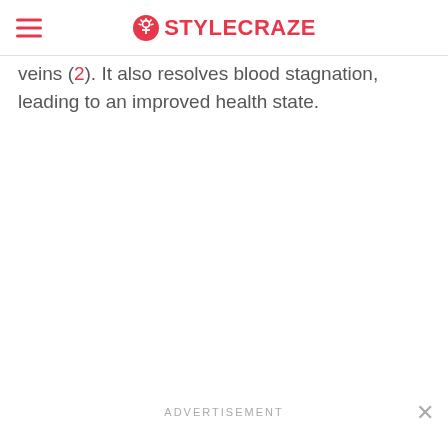STYLECRAZE
veins (2). It also resolves blood stagnation, leading to an improved health state.
ADVERTISEMENT